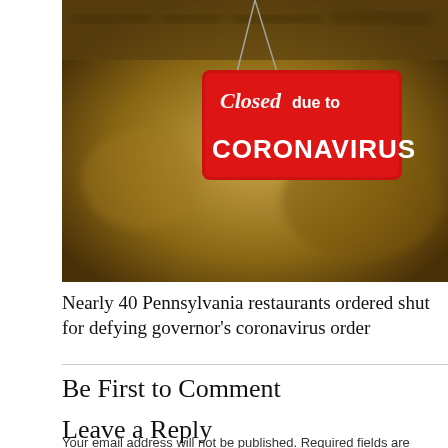[Figure (photo): A red sign hanging on a glass door reading 'Closed due to CORONAVIRUS' with a blurred storefront background]
Nearly 40 Pennsylvania restaurants ordered shut for defying governor's coronavirus order
Be First to Comment
Leave a Reply
Your email address will not be published. Required fields are